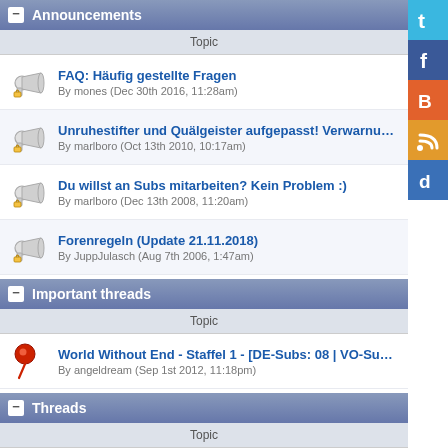Announcements
| Topic |
| --- |
| FAQ: Häufig gestellte Fragen
By mones (Dec 30th 2016, 11:28am) |
| Unruhestifter und Quälgeister aufgepasst! Verwarnungssystem...
By marlboro (Oct 13th 2010, 10:17am) |
| Du willst an Subs mitarbeiten? Kein Problem :)
By marlboro (Dec 13th 2008, 11:20am) |
| Forenregeln (Update 21.11.2018)
By JuppJulasch (Aug 7th 2006, 1:47am) |
Important threads
| Topic |
| --- |
| World Without End - Staffel 1 - [DE-Subs: 08 | VO-Subs: 08] - [Kompl...
By angeldream (Sep 1st 2012, 11:18pm) |
Threads
| Topic |
| --- |
| World Without End - Talk-Thread [Spoiler]
By Caedmon45 (Sep 14th 2012, 3:51am) |
| World without End [Showcase - 04. September 2012]
By TheFaceOfBoe (Jul 8th 2012, 3:37pm) |